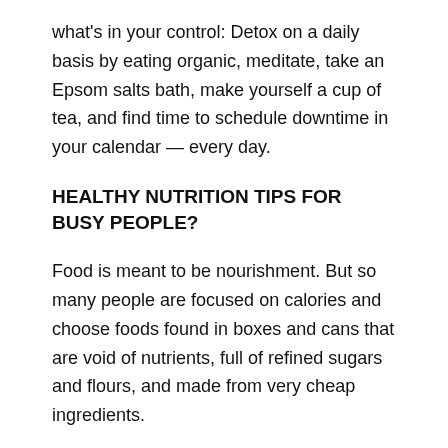what's in your control: Detox on a daily basis by eating organic, meditate, take an Epsom salts bath, make yourself a cup of tea, and find time to schedule downtime in your calendar — every day.
HEALTHY NUTRITION TIPS FOR BUSY PEOPLE?
Food is meant to be nourishment. But so many people are focused on calories and choose foods found in boxes and cans that are void of nutrients, full of refined sugars and flours, and made from very cheap ingredients.
Real food is eating one-ingredient whole foods and forming your meals and snacks around those